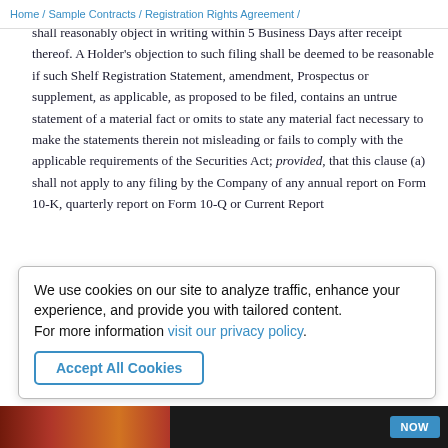Home / Sample Contracts / Registration Rights Agreement /
shall reasonably object in writing within 5 Business Days after receipt thereof. A Holder's objection to such filing shall be deemed to be reasonable if such Shelf Registration Statement, amendment, Prospectus or supplement, as applicable, as proposed to be filed, contains an untrue statement of a material fact or omits to state any material fact necessary to make the statements therein not misleading or fails to comply with the applicable requirements of the Securities Act; provided, that this clause (a) shall not apply to any filing by the Company of any annual report on Form 10-K, quarterly report on Form 10-Q or Current Report
We use cookies on our site to analyze traffic, enhance your experience, and provide you with tailored content.
For more information visit our privacy policy.